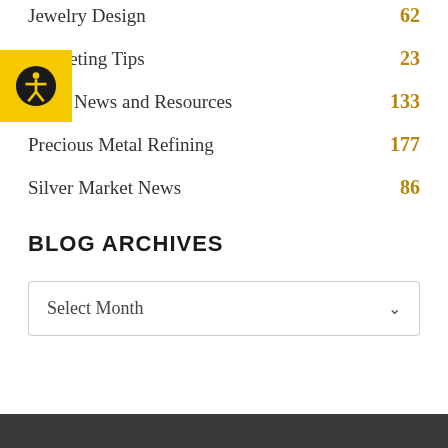Jewelry Design  62
Marketing Tips  23
MGS News and Resources  133
Precious Metal Refining  177
Silver Market News  86
BLOG ARCHIVES
Select Month